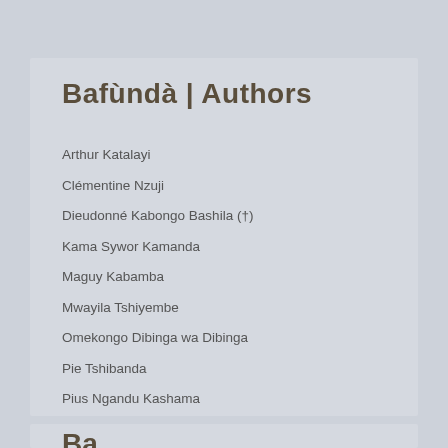Bafùndà | Authors
Arthur Katalayi
Clémentine Nzuji
Dieudonné Kabongo Bashila (†)
Kama Sywor Kamanda
Maguy Kabamba
Mwayila Tshiyembe
Omekongo Dibinga wa Dibinga
Pie Tshibanda
Pius Ngandu Kashama
Valentin-Yves Mudimbe